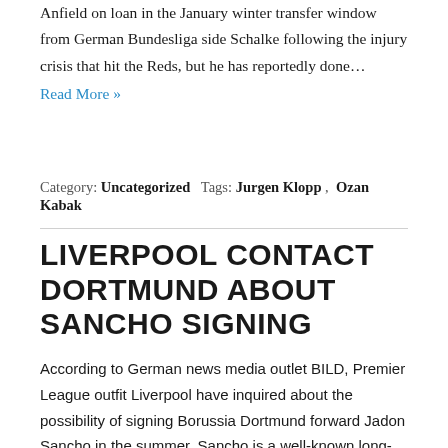Anfield on loan in the January winter transfer window from German Bundesliga side Schalke following the injury crisis that hit the Reds, but he has reportedly done…
Read More »
Category: Uncategorized  Tags: Jurgen Klopp , Ozan Kabak
LIVERPOOL CONTACT DORTMUND ABOUT SANCHO SIGNING
According to German news media outlet BILD, Premier League outfit Liverpool have inquired about the possibility of signing Borussia Dortmund forward Jadon Sancho in the summer. Sancho is a well-known long-term target of Liverpool's rivals Manchester United, but with United failing to land their top transfer target last summer, they